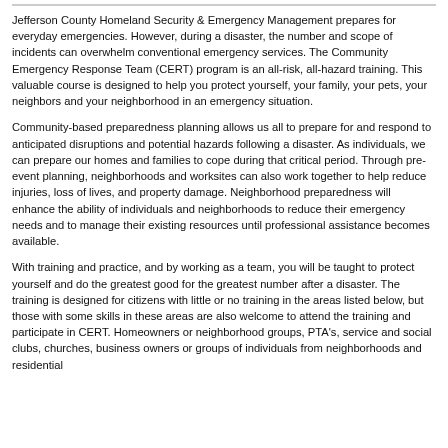Jefferson County Homeland Security & Emergency Management prepares for everyday emergencies. However, during a disaster, the number and scope of incidents can overwhelm conventional emergency services. The Community Emergency Response Team (CERT) program is an all-risk, all-hazard training. This valuable course is designed to help you protect yourself, your family, your pets, your neighbors and your neighborhood in an emergency situation.
Community-based preparedness planning allows us all to prepare for and respond to anticipated disruptions and potential hazards following a disaster. As individuals, we can prepare our homes and families to cope during that critical period. Through pre-event planning, neighborhoods and worksites can also work together to help reduce injuries, loss of lives, and property damage. Neighborhood preparedness will enhance the ability of individuals and neighborhoods to reduce their emergency needs and to manage their existing resources until professional assistance becomes available.
With training and practice, and by working as a team, you will be taught to protect yourself and do the greatest good for the greatest number after a disaster. The training is designed for citizens with little or no training in the areas listed below, but those with some skills in these areas are also welcome to attend the training and participate in CERT. Homeowners or neighborhood groups, PTA's, service and social clubs, churches, business owners or groups of individuals from neighborhoods and residential...